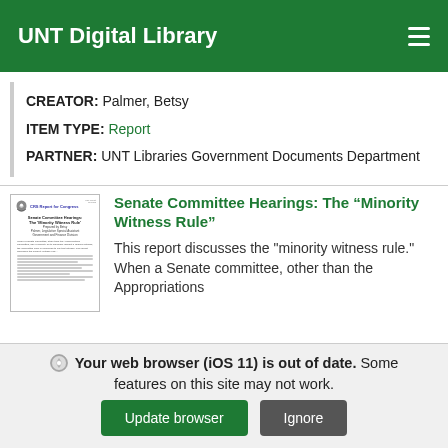UNT Digital Library
CREATOR: Palmer, Betsy
ITEM TYPE: Report
PARTNER: UNT Libraries Government Documents Department
[Figure (screenshot): Thumbnail of a CRS Report for Congress document titled 'Senate Committee Hearings: The Minority Witness Rule']
Senate Committee Hearings: The "Minority Witness Rule"
This report discusses the "minority witness rule." When a Senate committee, other than the Appropriations
Your web browser (iOS 11) is out of date. Some features on this site may not work.